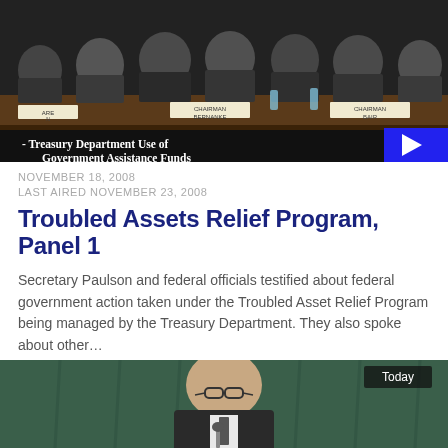[Figure (screenshot): C-SPAN video thumbnail showing a congressional hearing panel with multiple officials seated at a table, name placards visible, with text overlay 'Treasury Department Use of Government Assistance Funds' and C-SPAN logo, blue play button overlay]
NOVEMBER 18, 2008
LAST AIRED NOVEMBER 23, 2008
Troubled Assets Relief Program, Panel 1
Secretary Paulson and federal officials testified about federal government action taken under the Troubled Asset Relief Program being managed by the Treasury Department. They also spoke about other...
1,863 VIEWS
[Figure (screenshot): C-SPAN video thumbnail showing a man speaking at a hearing, with teal/green curtain background and 'Today' label in top right corner]